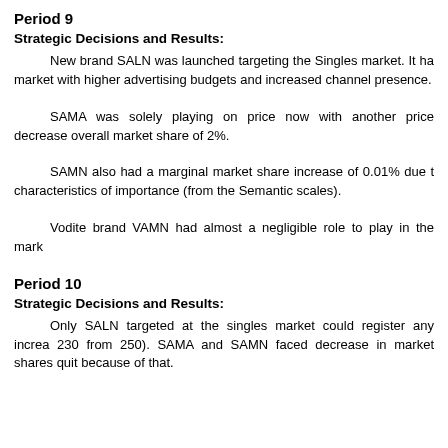Period 9
Strategic Decisions and Results:
New brand SALN was launched targeting the Singles market. It ha market with higher advertising budgets and increased channel presence.
SAMA was solely playing on price now with another price decrease overall market share of 2%.
SAMN also had a marginal market share increase of 0.01% due t characteristics of importance (from the Semantic scales).
Vodite brand VAMN had almost a negligible role to play in the mark
Period 10
Strategic Decisions and Results:
Only SALN targeted at the singles market could register any increa 230 from 250). SAMA and SAMN faced decrease in market shares quit because of that.